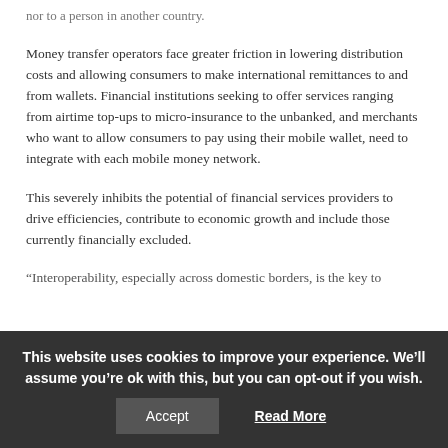nor to a person in another country.
Money transfer operators face greater friction in lowering distribution costs and allowing consumers to make international remittances to and from wallets. Financial institutions seeking to offer services ranging from airtime top-ups to micro-insurance to the unbanked, and merchants who want to allow consumers to pay using their mobile wallet, need to integrate with each mobile money network.
This severely inhibits the potential of financial services providers to drive efficiencies, contribute to economic growth and include those currently financially excluded.
“Interoperability, especially across domestic borders, is the key to
This website uses cookies to improve your experience. We’ll assume you’re ok with this, but you can opt-out if you wish.
Accept
Read More